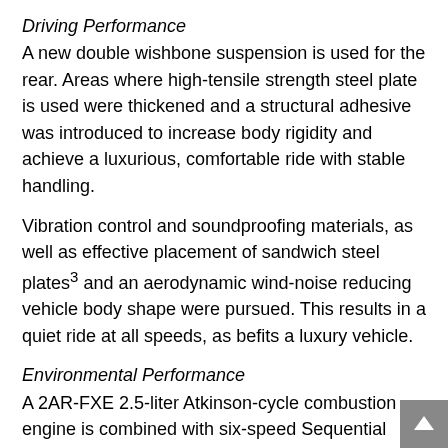Driving Performance
A new double wishbone suspension is used for the rear. Areas where high-tensile strength steel plate is used were thickened and a structural adhesive was introduced to increase body rigidity and achieve a luxurious, comfortable ride with stable handling.
Vibration control and soundproofing materials, as well as effective placement of sandwich steel plates³ and an aerodynamic wind-noise reducing vehicle body shape were pursued. This results in a quiet ride at all speeds, as befits a luxury vehicle.
Environmental Performance
A 2AR-FXE 2.5-liter Atkinson-cycle combustion engine is combined with six-speed Sequential Shiftmatic and E-Four (electric four-wheel drive system) to create a hybrid system with a fuel efficiency of 19.4 km/L⁴ under the